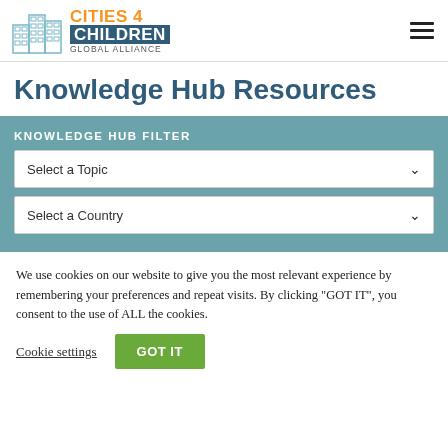Cities 4 Children Global Alliance - logo and navigation
Knowledge Hub Resources
KNOWLEDGE HUB FILTER
Select a Topic
Select a Country
We use cookies on our website to give you the most relevant experience by remembering your preferences and repeat visits. By clicking "GOT IT", you consent to the use of ALL the cookies.
Cookie settings  GOT IT